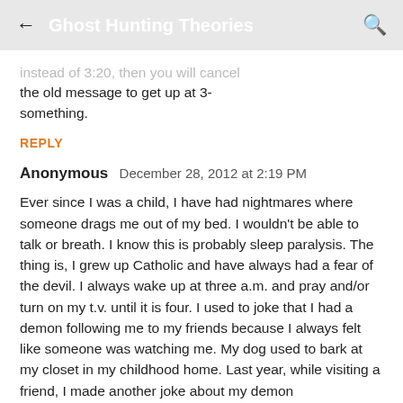Ghost Hunting Theories
instead of 3:20, then you will cancel the old message to get up at 3-something.
REPLY
Anonymous   December 28, 2012 at 2:19 PM
Ever since I was a child, I have had nightmares where someone drags me out of my bed. I wouldn't be able to talk or breath. I know this is probably sleep paralysis. The thing is, I grew up Catholic and have always had a fear of the devil. I always wake up at three a.m. and pray and/or turn on my t.v. until it is four. I used to joke that I had a demon following me to my friends because I always felt like someone was watching me. My dog used to bark at my closet in my childhood home. Last year, while visiting a friend, I made another joke about my demon